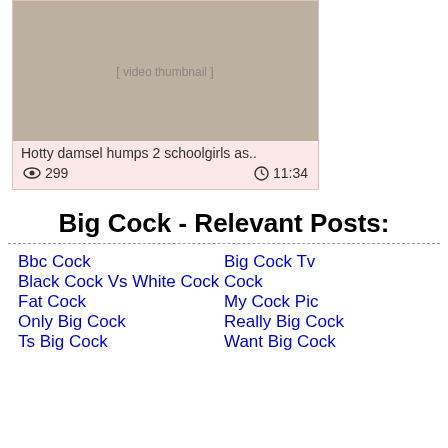[Figure (photo): Video thumbnail showing two people]
Hotty damsel humps 2 schoolgirls as..
👁 299   🕐 11:34
Big Cock - Relevant Posts:
Bbc Cock
Big Cock Tv
Black Cock Vs White Cock
Cock
Fat Cock
My Cock Pic
Only Big Cock
Really Big Cock
Ts Big Cock
Want Big Cock